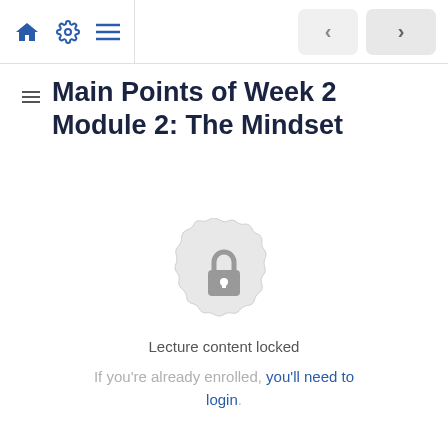Navigation bar with home, settings, menu icons and prev/next arrows
Main Points of Week 2 Module 2: The Mindset
[Figure (illustration): A lock icon centered within a decorative circular badge with scalloped edges, shown in light gray indicating locked content]
Lecture content locked
If you're already enrolled, you'll need to login.